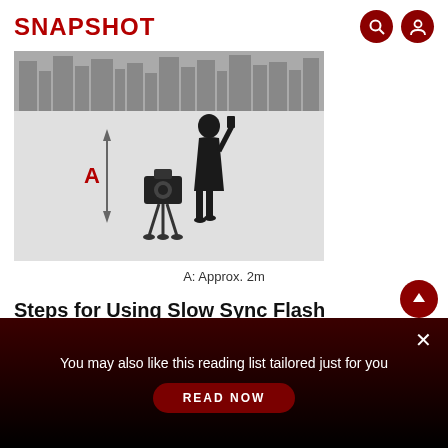SNAPSHOT
[Figure (illustration): Diagram showing a person standing approximately 2 meters away from a camera on a tripod, with a double-headed arrow labeled A indicating the distance between them. City buildings silhouette visible in background.]
A: Approx. 2m
Steps for Using Slow Sync Flash
You may also like this reading list tailored just for you
READ NOW